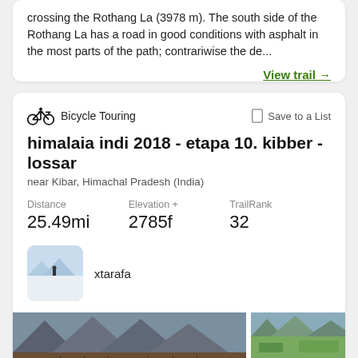crossing the Rothang La (3978 m). The south side of the Rothang La has a road in good conditions with asphalt in the most parts of the path; contrariwise the de...
View trail →
Bicycle Touring
Save to a List
himalaia indi 2018 - etapa 10. kibber - lossar
near Kibar, Himachal Pradesh (India)
Distance: 25.49mi, Elevation +: 2785f, TrailRank: 32
xtarafa
[Figure (photo): Two trail/landscape photos showing mountain terrain in Himachal Pradesh, India]